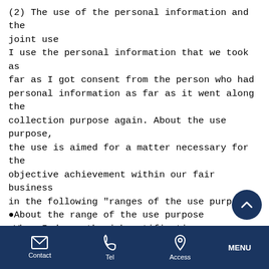(2) The use of the personal information and the joint use
I use the personal information that we took as far as I got consent from the person who had personal information as far as it went along the collection purpose again. About the use purpose, the use is aimed for a matter necessary for the objective achievement within our fair business in the following "ranges of the use purpose".
●About the range of the use purpose
□When I do on-the-job notification
□When I work as the guide about the product which we handle and the service
□When I do the correspondence from user to an inquiry or a request
Contact | Tel | Access | MENU